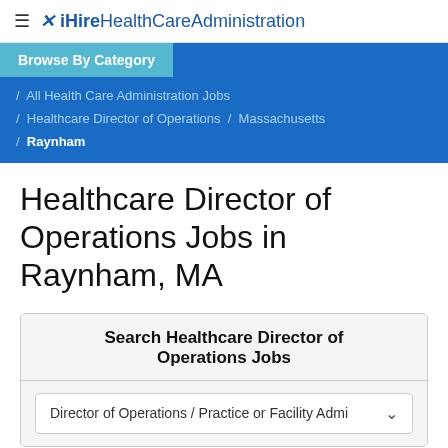≡ ✕ iHireHealthCareAdministration
Browse By Category
/ All Health Care Administration Jobs / Healthcare Director of Operations / Massachusetts / Raynham
Healthcare Director of Operations Jobs in Raynham, MA
Search Healthcare Director of Operations Jobs
Director of Operations / Practice or Facility Admi ∨